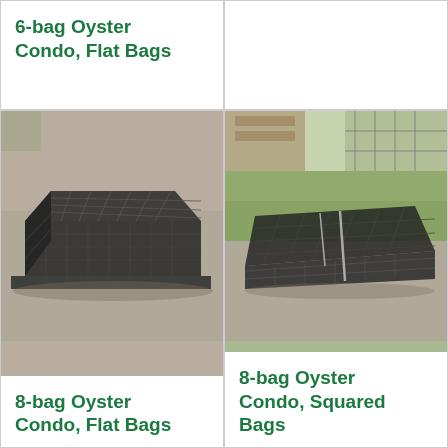6-bag Oyster Condo, Flat Bags
[Figure (photo): Empty right cell top row — no image shown]
[Figure (photo): Photo of a black wire mesh oyster condo cage (8-bag flat bags style) sitting on gravel ground, viewed from above-angle]
8-bag Oyster Condo, Flat Bags
[Figure (photo): Photo of a black wire mesh oyster condo cage (8-bag squared bags style) sitting on gravel/grass ground, viewed from side-angle]
8-bag Oyster Condo, Squared Bags